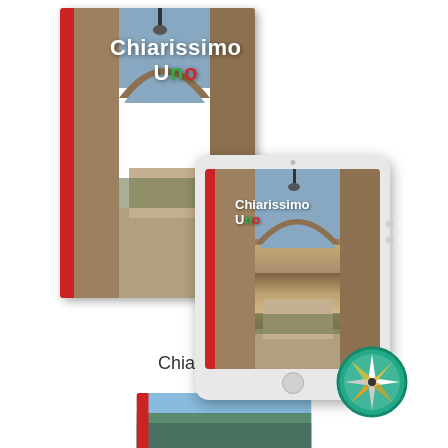[Figure (illustration): Chiarissimo Uno Italian language textbook shown as physical book alongside a tablet/iPad displaying the same cover. The book cover shows an Italian stone archway street scene. The title reads 'Chiarissimo Uno' in white bold text. The tablet shows the digital version of the same book with a compass rose logo in the lower right corner.]
Chiarissimo Uno
[Figure (illustration): Bottom partial thumbnail of another book cover with green and blue tones, partially visible at the bottom edge of the page.]